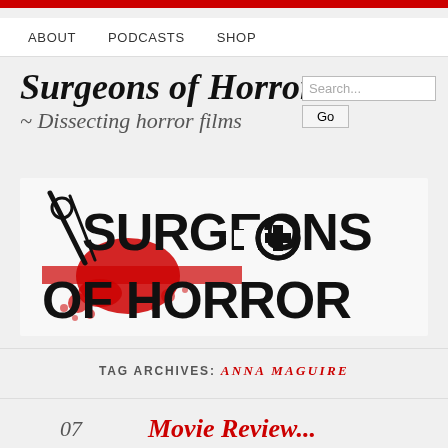ABOUT   PODCASTS   SHOP
Surgeons of Horror
~ Dissecting horror films
[Figure (logo): Surgeons of Horror logo — large bold text 'SURGEONS OF HORROR' in black with red blood splatter and scalpel graphic]
TAG ARCHIVES: ANNA MAGUIRE
07   Movie Review...